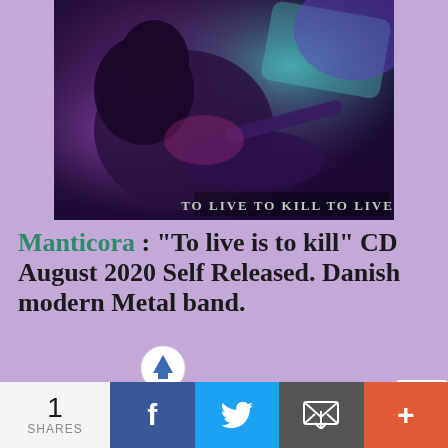[Figure (photo): Album art for Manticora 'To Live To Kill To Live' - dark purple/teal concert photo of musicians performing, with text 'TO LIVE TO KILL TO LIVE' overlaid]
Manticora : "To live is to kill" CD August 2020 Self Released. Danish modern Metal band.
Manticora to live is to kill. After numerous li...